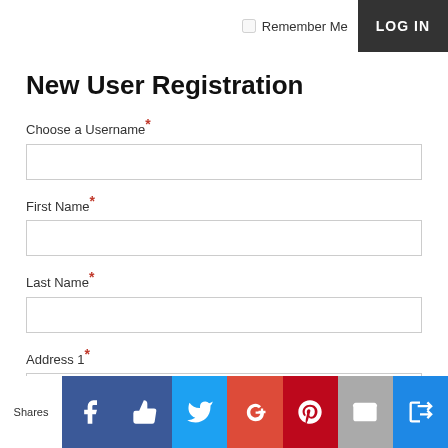Remember Me
LOG IN
New User Registration
Choose a Username*
First Name*
Last Name*
Address 1*
Shares